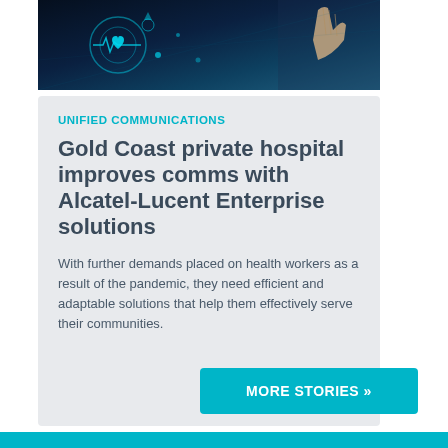[Figure (photo): Dark background technology image with glowing blue digital health icons and a hand touching a screen]
UNIFIED COMMUNICATIONS
Gold Coast private hospital improves comms with Alcatel-Lucent Enterprise solutions
With further demands placed on health workers as a result of the pandemic, they need efficient and adaptable solutions that help them effectively serve their communities.
MORE STORIES »